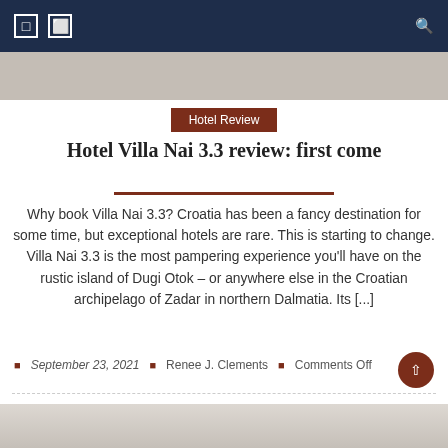Hotel Review
Hotel Villa Nai 3.3 review: first come
Why book Villa Nai 3.3? Croatia has been a fancy destination for some time, but exceptional hotels are rare. This is starting to change. Villa Nai 3.3 is the most pampering experience you'll have on the rustic island of Dugi Otok – or anywhere else in the Croatian archipelago of Zadar in northern Dalmatia. Its [...]
September 23, 2021  Renee J. Clements  Comments Off